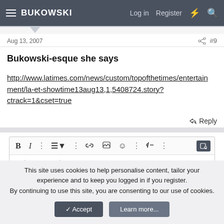BUKOWSKI  Log in  Register
Aug 13, 2007  #9
Bukowski-esque she says

http://www.latimes.com/news/custom/topofthetimes/entertainment/la-et-showtime13aug13,1,5408724.story?ctrack=1&cset=true
↩ Reply
[Figure (screenshot): Forum reply editor toolbar with Bold, Italic, list, link, image, emoji, undo icons and a text area placeholder saying 'Write your reply']
This site uses cookies to help personalise content, tailor your experience and to keep you logged in if you register.
By continuing to use this site, you are consenting to our use of cookies.
✓ Accept   Learn more...